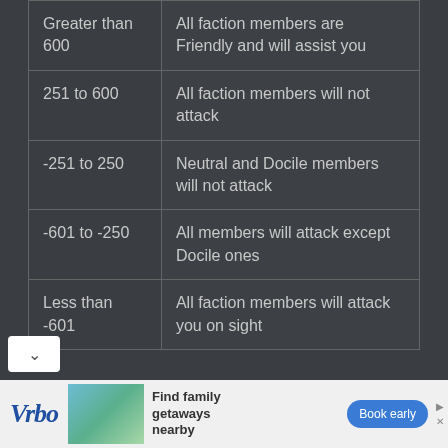| Greater than 600 | All faction members are Friendly and will assist you |
| 251 to 600 | All faction members will not attack |
| -251 to 250 | Neutral and Docile members will not attack |
| -601 to -250 | All members will attack except Docile ones |
| Less than -601 | All faction members will attack you on sight |